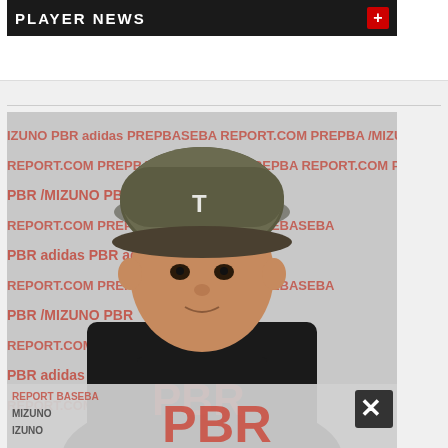PLAYER NEWS
[Figure (photo): A young baseball player wearing a camouflage-style cap with a 'T' logo and a black PBR t-shirt, posed in front of a PBR (Prep Baseball Report) branded backdrop featuring logos for adidas and Mizuno. The player is looking directly at the camera. A PBR logo overlay appears at the bottom of the image along with a close/dismiss button.]